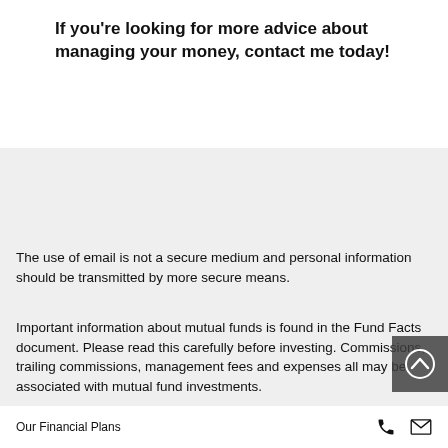If you're looking for more advice about managing your money, contact me today!
The use of email is not a secure medium and personal information should be transmitted by more secure means.
Important information about mutual funds is found in the Fund Facts document. Please read this carefully before investing. Commissions, trailing commissions, management fees and expenses all may be associated with mutual fund investments.
Our Financial Plans